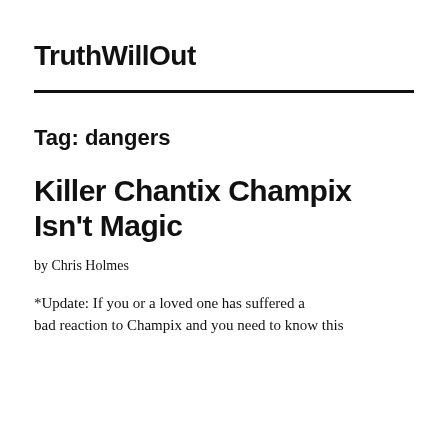TruthWillOut
Tag: dangers
Killer Chantix Champix Isn't Magic
by Chris Holmes
*Update: If you or a loved one has suffered a bad reaction to Champix and you need to know this